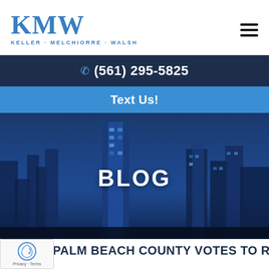[Figure (logo): KMW law firm logo with text KELLER · MELCHIORRE · WALSH]
(561) 295-5825
Text Us!
[Figure (photo): City skyline at dusk with dark blue overlay]
BLOG
[Figure (other): reCAPTCHA badge with Privacy and Terms links]
PALM BEACH COUNTY VOTES TO REQUIRE